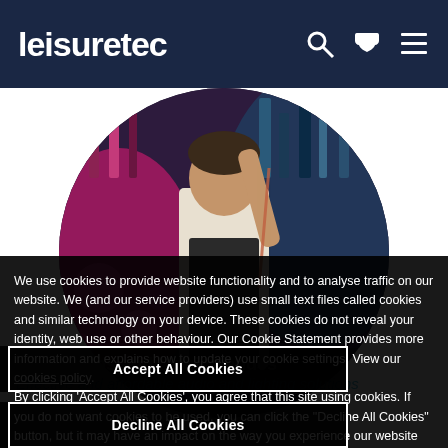leisuretec
[Figure (photo): Circular cropped photo of a bartender working at a colorfully lit bar with bottles in background]
We use cookies to provide website functionality and to analyse traffic on our website. We (and our service providers) use small text files called cookies and similar technology on your device. These cookies do not reveal your identity, web use or other behaviour. Our Cookie Statement provides more information and explains how to update your cookie settings. View our cookies policy.
By clicking 'Accept All Cookies', you agree that this site using cookies. If you do not want cookies to be used, you can click the "Decline All Cookies" button, but it may have an impact on the way you experience our website and others.
Accept All Cookies
Decline All Cookies
Bars, Clubs and Music Venues
Effective and affordable audio and lighting solutions